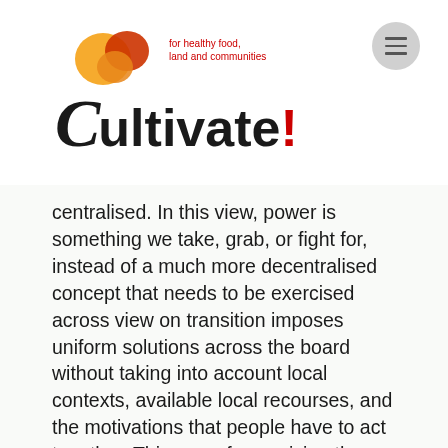[Figure (logo): Cultivate! logo with orange speech bubble icon and tagline 'for healthy food, land and communities']
centralised. In this view, power is something we take, grab, or fight for, instead of a much more decentralised concept that needs to be exercised across view on transition imposes uniform solutions across the board without taking into account local contexts, available local recourses, and the motivations that people have to act together. This way of conceiving the transition to sustainable food systems is now recognised as insufficient. We must think of another way.
A different understanding of transition starts from the bottom and from local solutions, rather than from the top and the centre of political power. Alternative food networks are bourgeoning at the